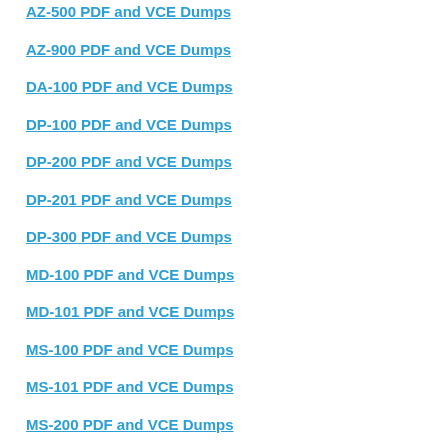AZ-500 PDF and VCE Dumps
AZ-900 PDF and VCE Dumps
DA-100 PDF and VCE Dumps
DP-100 PDF and VCE Dumps
DP-200 PDF and VCE Dumps
DP-201 PDF and VCE Dumps
DP-300 PDF and VCE Dumps
MD-100 PDF and VCE Dumps
MD-101 PDF and VCE Dumps
MS-100 PDF and VCE Dumps
MS-101 PDF and VCE Dumps
MS-200 PDF and VCE Dumps
MS-201 PDF and VCE Dumps